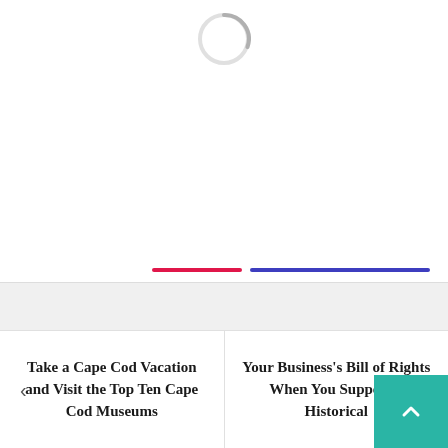[Figure (other): Loading spinner circle, partially rendered, centered near top of page]
[Figure (other): Two tab indicator bars: a pink/red active tab bar on the left and a blue inactive tab bar on the right]
Take a Cape Cod Vacation and Visit the Top Ten Cape Cod Museums
Your Business's Bill of Rights When You Support a Historical